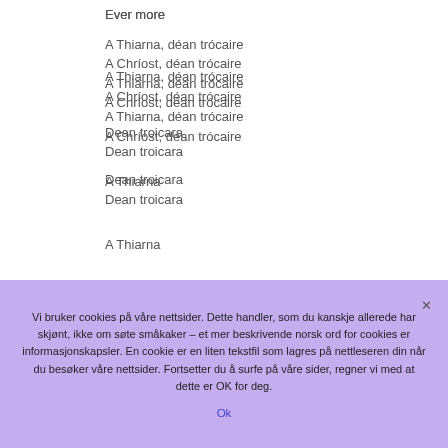Ever more
A Thiarna, déan trócaire
A Chríost, déan trócaire
A Thiarna, déan trócaire
A Chríost, déan trócaire
Dean troicara
Dean troicara
A Thiarna
Vi bruker cookies på våre nettsider. Dette handler, som du kanskje allerede har skjønt, ikke om søte småkaker – et mer beskrivende norsk ord for cookies er informasjonskapsler. En cookie er en liten tekstfil som lagres på nettleseren din når du besøker våre nettsider. Fortsetter du å surfe på våre sider, regner vi med at dette er OK for deg.
Ok